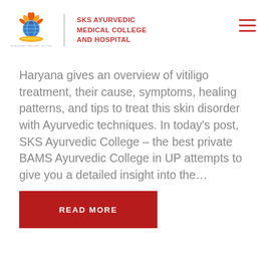[Figure (logo): SKS Ayurvedic Medical College and Hospital logo with globe and book imagery, red text]
Haryana gives an overview of vitiligo treatment, their cause, symptoms, healing patterns, and tips to treat this skin disorder with Ayurvedic techniques. In today’s post, SKS Ayurvedic College – the best private BAMS Ayurvedic College in UP attempts to give you a detailed insight into the…
READ MORE